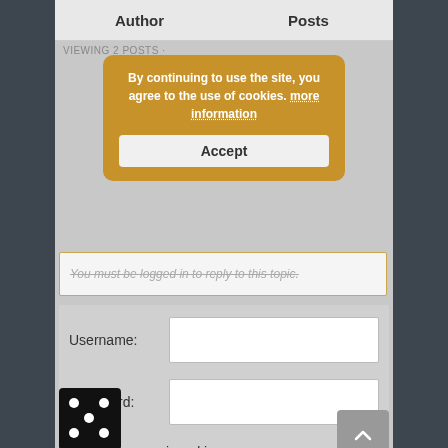| Author | Posts |
| --- | --- |
VIEWING 2 POSTS ·
By continuing to use the site, you agree to the use of cookies. more information
Accept
You must be logged in to reply to this topic.
Username:
Password:
Keep me signed in
[Figure (other): Black square with white dots arranged in a dice/domino-like pattern (5 dots)]
[Figure (other): Small black dots pattern]
[Figure (other): Black square with white number 1]